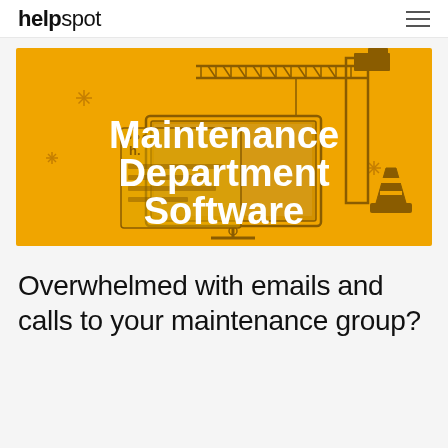helpspot
[Figure (illustration): Orange banner illustration with a construction crane, traffic cone, and computer monitor showing a help desk interface. White bold text overlay reads 'Maintenance Department Software'.]
Maintenance Department Software
Overwhelmed with emails and calls to your maintenance group?